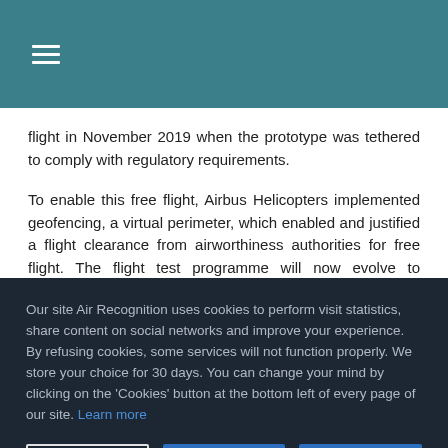≡
flight in November 2019 when the prototype was tethered to comply with regulatory requirements.
To enable this free flight, Airbus Helicopters implemented geofencing, a virtual perimeter, which enabled and justified a flight clearance from airworthiness authorities for free flight. The flight test programme will now evolve to progressively
Our site Air Recognition uses cookies to perform visit statistics, share content on social networks and improve your experience. By refusing cookies, some services will not function properly. We store your choice for 30 days. You can change your mind by clicking on the 'Cookies' button at the bottom left of every page of our site. Learn more